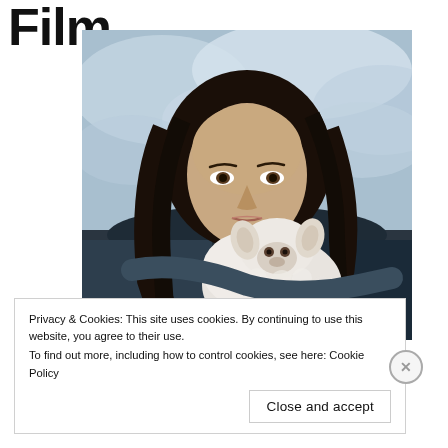Film
[Figure (photo): A woman with long dark hair holding a white lamb against a cloudy sky background. She is wearing a dark jacket and looking directly at the camera with a serious expression.]
Privacy & Cookies: This site uses cookies. By continuing to use this website, you agree to their use.
To find out more, including how to control cookies, see here: Cookie Policy
Close and accept